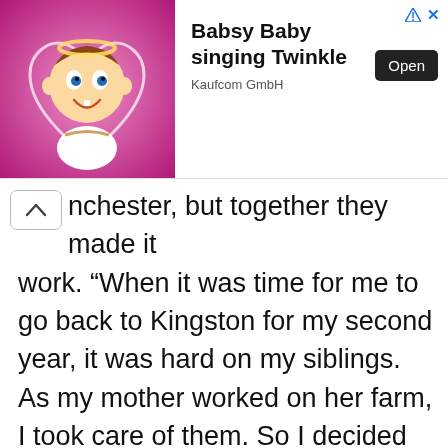[Figure (screenshot): Advertisement banner for 'Babsy Baby singing Twinkle' app by Kaufcom GmbH, with a cartoon baby image on pink background, Open button, and navigation arrows with X close button.]
nchester, but together they made it work. “When it was time for me to go back to Kingston for my second year, it was hard on my siblings. As my mother worked on her farm, I took care of them. So I decided to stay for an additional month just to make the transition for them into a new school much easier,” she said. One month turned into an entire year off from school.